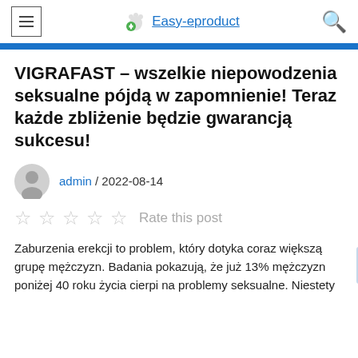Easy-eproduct
VIGRAFAST – wszelkie niepowodzenia seksualne pójdą w zapomnienie! Teraz każde zbliżenie będzie gwarancją sukcesu!
admin / 2022-08-14
Rate this post
Zaburzenia erekcji to problem, który dotyka coraz większą grupę mężczyzn. Badania pokazują, że już 13% mężczyzn poniżej 40 roku życia cierpi na problemy seksualne. Niestety